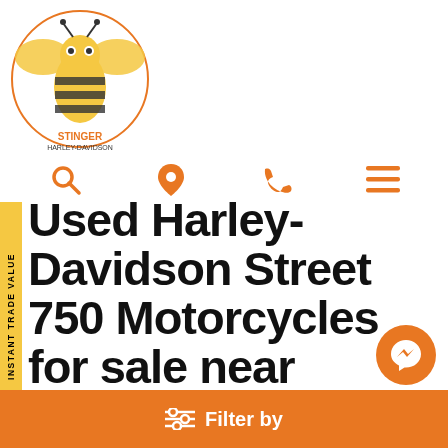[Figure (logo): Stinger Harley-Davidson dealership logo with a bee mascot, yellow and orange colors, Mansfield OH]
[Figure (infographic): Navigation icons row: search magnifying glass, location pin, phone handset, hamburger menu - all in orange]
[Figure (infographic): Yellow vertical sidebar tab with rotated text reading INSTANT TRADE VALUE]
Used Harley-Davidson Street 750 Motorcycles for sale near Mansfield, Ohio
ALL  NEW  PRE-OWNED toggle buttons, PRE-OWNED selected
Showing 1 - 12 of 30 results
Filter by